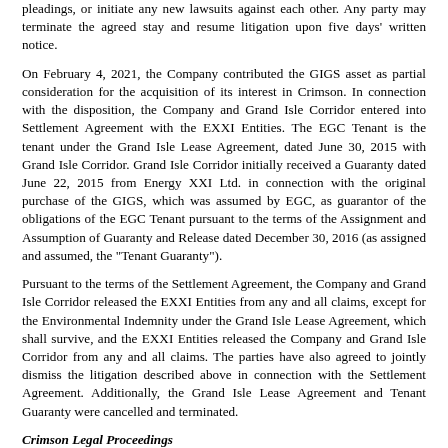pleadings, or initiate any new lawsuits against each other. Any party may terminate the agreed stay and resume litigation upon five days' written notice.
On February 4, 2021, the Company contributed the GIGS asset as partial consideration for the acquisition of its interest in Crimson. In connection with the disposition, the Company and Grand Isle Corridor entered into Settlement Agreement with the EXXI Entities. The EGC Tenant is the tenant under the Grand Isle Lease Agreement, dated June 30, 2015 with Grand Isle Corridor. Grand Isle Corridor initially received a Guaranty dated June 22, 2015 from Energy XXI Ltd. in connection with the original purchase of the GIGS, which was assumed by EGC, as guarantor of the obligations of the EGC Tenant pursuant to the terms of the Assignment and Assumption of Guaranty and Release dated December 30, 2016 (as assigned and assumed, the "Tenant Guaranty").
Pursuant to the terms of the Settlement Agreement, the Company and Grand Isle Corridor released the EXXI Entities from any and all claims, except for the Environmental Indemnity under the Grand Isle Lease Agreement, which shall survive, and the EXXI Entities released the Company and Grand Isle Corridor from any and all claims. The parties have also agreed to jointly dismiss the litigation described above in connection with the Settlement Agreement. Additionally, the Grand Isle Lease Agreement and Tenant Guaranty were cancelled and terminated.
Crimson Legal Proceedings
On October 30, 2014, the owner of a property on which Crimson built a valve access vault filed an action against Crimson, claiming that Crimson's pre-existing pipeline easement did not authorize the construction of the vault. Crimson responded by filing a condemnation action on October 26, 2015 to